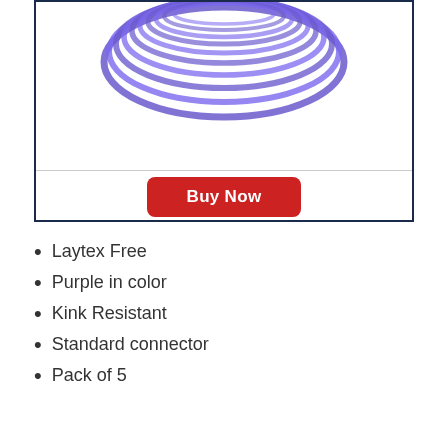[Figure (photo): Cropped product image showing purple coiled medical/laboratory tubing from a top-down view, partially visible at top of page inside a dark-bordered product card]
Laytex Free
Purple in color
Kink Resistant
Standard connector
Pack of 5